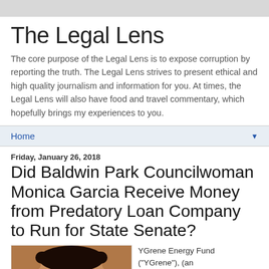The Legal Lens
The core purpose of the Legal Lens is to expose corruption by reporting the truth. The Legal Lens strives to present ethical and high quality journalism and information for you. At times, the Legal Lens will also have food and travel commentary, which hopefully brings my experiences to you.
Home
Friday, January 26, 2018
Did Baldwin Park Councilwoman Monica Garcia Receive Money from Predatory Loan Company to Run for State Senate?
[Figure (photo): Headshot photo of a person against an orange/brown background]
YGrene Energy Fund ("YGrene"), (an